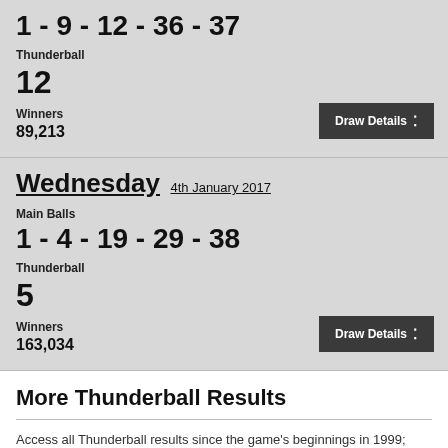1 - 9 - 12 - 36 - 37
Thunderball
12
Winners
89,213
Draw Details
Wednesday 4th January 2017
Main Balls
1 - 4 - 19 - 29 - 38
Thunderball
5
Winners
163,034
Draw Details
More Thunderball Results
Access all Thunderball results since the game's beginnings in 1999; select one of the years shown below to get started.